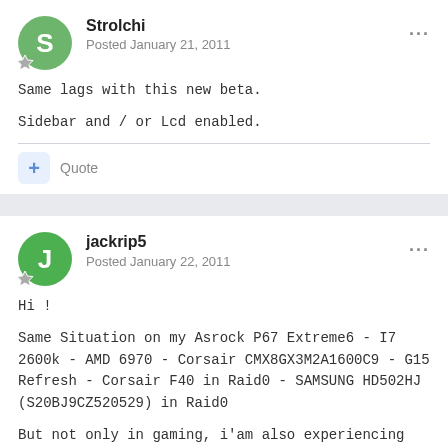Strolchi
Posted January 21, 2011
Same lags with this new beta.
Sidebar and / or Lcd enabled.
+ Quote
jackrip5
Posted January 22, 2011
Hi !
Same Situation on my Asrock P67 Extreme6 - I7 2600k - AMD 6970 - Corsair CMX8GX3M2A1600C9 - G15 Refresh - Corsair F40 in Raid0 - SAMSUNG HD502HJ (S20BJ9CZ520529) in Raid0
But not only in gaming, i'am also experiencing lags in common pc